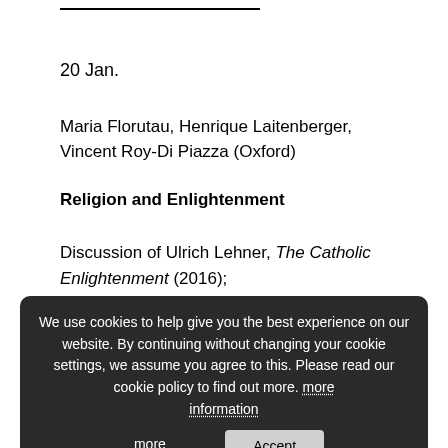20 Jan.
Maria Florutau, Henrique Laitenberger, Vincent Roy-Di Piazza (Oxford)
Religion and Enlightenment
Discussion of Ulrich Lehner, The Catholic Enlightenment (2016);
Dan Edelstein & Anton Matytsin (eds.), Let There Be Enlightenment...; Jacques...(2015):
[Figure (screenshot): Cookie consent overlay with dark background. Text reads: 'We use cookies to help give you the best experience on our website. By continuing without changing your cookie settings, we assume you agree to this. Please read our cookie policy to find out more. more information [Accept]']
27 Jan.